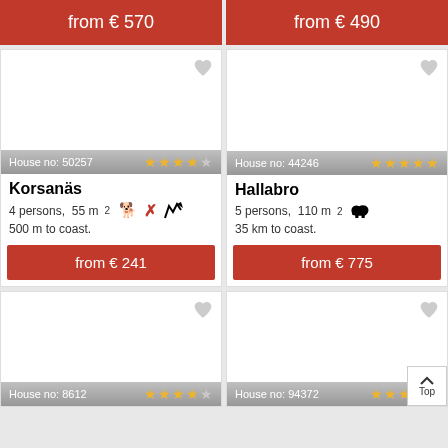from € 570
from € 490
[Figure (photo): House listing card - House no: 50257, 4 stars]
Korsanäs
4 persons, 55 m², no pets, 500 m to coast.
from € 241
[Figure (photo): House listing card - House no: 44246, 5 stars]
Hallabro
5 persons, 110 m², pets allowed, 35 km to coast.
from € 775
[Figure (photo): House listing card - House no: 8612, 4 stars]
[Figure (photo): House listing card - House no: 94372, 3 stars]